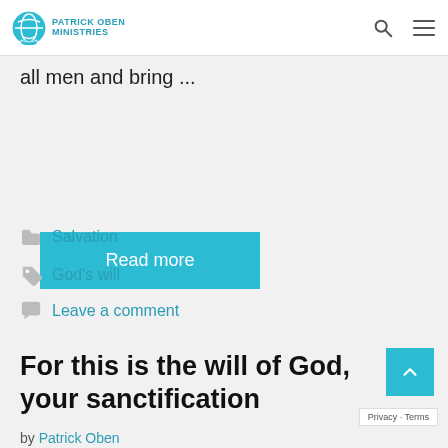Patrick Oben Ministries
all men and bring ...
Read more
Salvation
God's will
Leave a comment
For this is the will of God, your sanctification
by Patrick Oben